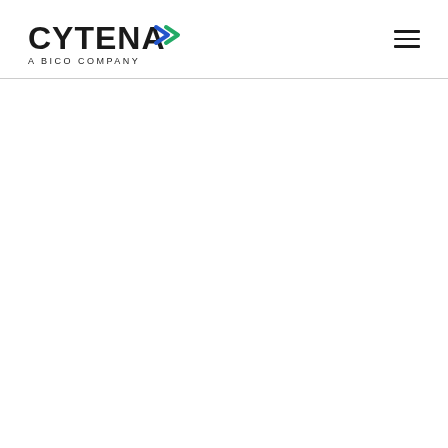CYTENA – A BICO COMPANY (logo with navigation hamburger menu)